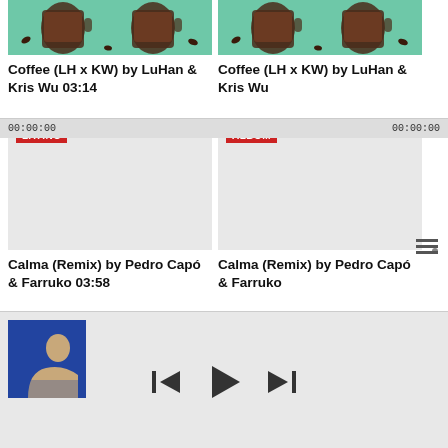[Figure (screenshot): Music app screenshot showing two rows of music cards. Top row: two 'Coffee (LH x KW) by LuHan & Kris Wu' cards with teal album art. Middle row: 'Calma (Remix)' cards with gray placeholder images, badges 'LATINO' and 'ALBOM'. Bottom: media player bar with album thumbnail and playback controls.]
Coffee (LH x KW) by LuHan & Kris Wu 03:14
Coffee (LH x KW) by LuHan & Kris Wu
LATINO
ALBOM
Calma (Remix) by Pedro Capó & Farruko 03:58
Calma (Remix) by Pedro Capó & Farruko
00:00:00
00:00:00